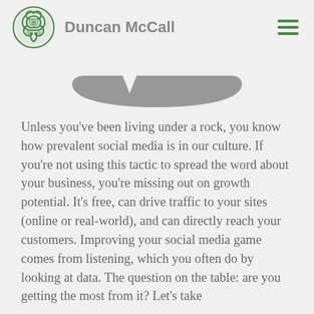Duncan McCall
[Figure (illustration): Partial view of a decorative bowl or MacBook laptop bottom, showing a curved gray shape against a light background]
Unless you've been living under a rock, you know how prevalent social media is in our culture. If you're not using this tactic to spread the word about your business, you're missing out on growth potential. It's free, can drive traffic to your sites (online or real-world), and can directly reach your customers. Improving your social media game comes from listening, which you often do by looking at data. The question on the table: are you getting the most from it? Let's take